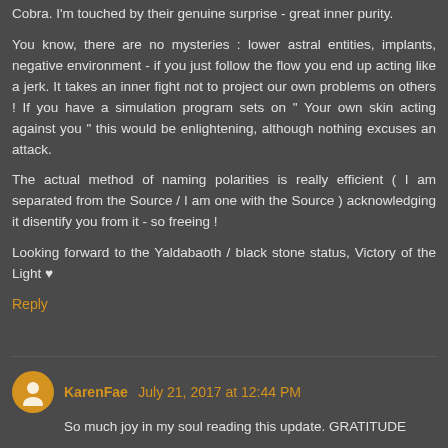Cobra. I'm touched by their genuine surprise - great inner purity.
You know, there are no mysteries : lower astral entities, implants, negative environment - if you just follow the flow you end up acting like a jerk. It takes an inner fight not to project our own problems on others ! If you have a simulation program sets on " Your own skin acting against you " this would be enlightening, although nothing excuses an attack.
The actual method of naming polarities is really efficient ( I am separated from the Source / I am one with the Source ) acknowledging it disentify you from it - so freeing !
Looking forward to the Yaldabaoth / black stone status, Victory of the Light ♥
Reply
KarenFae July 21, 2017 at 12:44 PM
So much joy in my soul reading this update. GRATITUDE